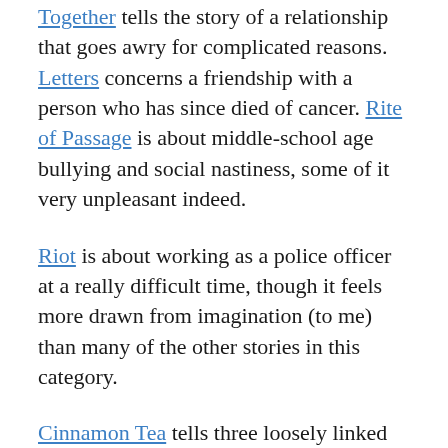Together tells the story of a relationship that goes awry for complicated reasons. Letters concerns a friendship with a person who has since died of cancer. Rite of Passage is about middle-school age bullying and social nastiness, some of it very unpleasant indeed.
Riot is about working as a police officer at a really difficult time, though it feels more drawn from imagination (to me) than many of the other stories in this category.
Cinnamon Tea tells three loosely linked stories, one of them a holocaust tale.
Poetry: Fallen ||| Leaves is an interactive procedural poetry generator. I've written a